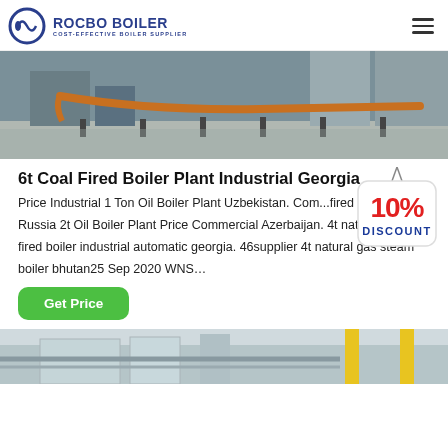ROCBO BOILER | COST-EFFECTIVE BOILER SUPPLIER
[Figure (photo): Industrial boiler equipment in a factory setting, showing pipes and machinery in a large industrial hall]
6t Coal Fired Boiler Plant Industrial Georgia
[Figure (infographic): 10% DISCOUNT badge in red and blue text on a hanging sign]
Price Industrial 1 Ton Oil Boiler Plant Uzbekistan. Com...fired Boiler Plant Russia 2t Oil Boiler Plant Price Commercial Azerbaijan. 4t natural gas fired boiler industrial automatic georgia. 46supplier 4t natural gas steam boiler bhutan25 Sep 2020 WNS...
Get Price
[Figure (photo): Bottom portion of industrial boiler equipment, partially visible]